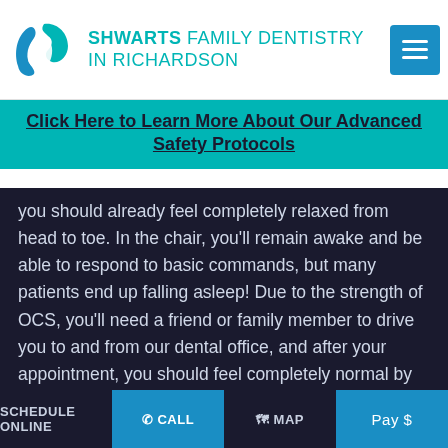[Figure (logo): Shwarts Family Dentistry in Richardson logo with teal tooth/shield icon and teal text]
SHWARTS FAMILY DENTISTRY IN RICHARDSON
Click Here to Learn More About Our Advanced Safety Protocols
you should already feel completely relaxed from head to toe. In the chair, you'll remain awake and be able to respond to basic commands, but many patients end up falling asleep! Due to the strength of OCS, you'll need a friend or family member to drive you to and from our dental office, and after your appointment, you should feel completely normal by the next morning at the latest.
READ MORE
SCHEDULE ONLINE | CALL | MAP | Pay $